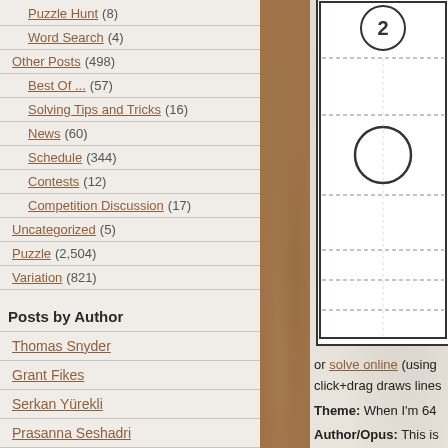Puzzle Hunt (8)
Word Search (4)
Other Posts (498)
Best Of ... (57)
Solving Tips and Tricks (16)
News (60)
Schedule (344)
Contests (12)
Competition Discussion (17)
Uncategorized (5)
Puzzle (2,504)
Variation (821)
Posts by Author
Thomas Snyder
Grant Fikes
Serkan Yürekli
Prasanna Seshadri
Murat Can Tonta
John Bulten
Ashish Kumar
Palmer Mebane
Tom Collyer
Carl Worth
[Figure (other): Partial puzzle grid with circled number 2 and circle symbol, dashed lines indicating grid cells]
or solve online (using click+drag draws lines
Theme: When I'm 64
Author/Opus: This is